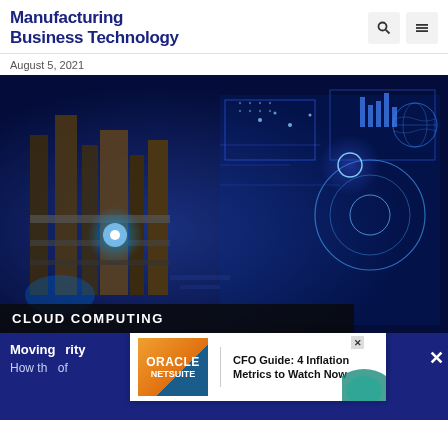Manufacturing Business Technology
August 5, 2021
[Figure (photo): Industrial manufacturing facility overlaid with blue digital interface graphics and data visualizations, representing cloud computing in manufacturing.]
CLOUD COMPUTING
Moving ... rity
How th... of